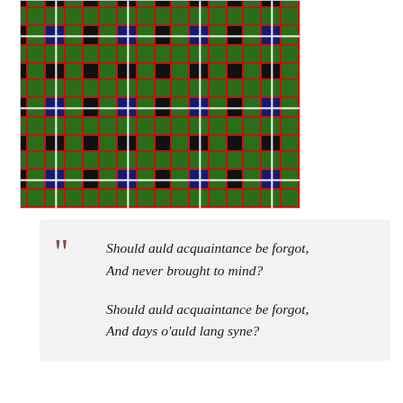[Figure (illustration): Scottish tartan plaid pattern with dark navy blue, forest green, black, and red stripes with white/silver overcheck lines, cropped at top.]
Should auld acquaintance be forgot, And never brought to mind?

Should auld acquaintance be forgot, And days o'auld lang syne?